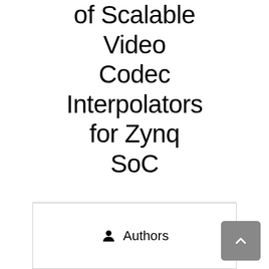of Scalable Video Codec Interpolators for Zynq SoC
Authors